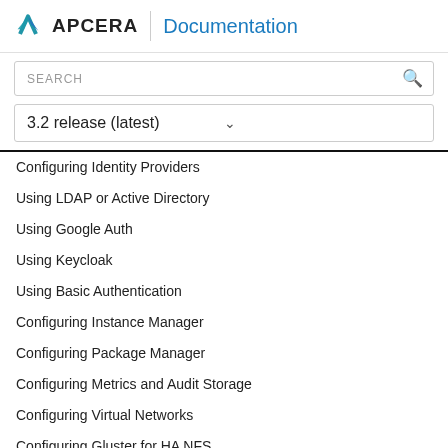APCERA Documentation
SEARCH
3.2 release (latest)
Configuring Identity Providers
Using LDAP or Active Directory
Using Google Auth
Using Keycloak
Using Basic Authentication
Configuring Instance Manager
Configuring Package Manager
Configuring Metrics and Audit Storage
Configuring Virtual Networks
Configuring Gluster for HA NFS
Configuring Cluster Monitoring (Zabbix)
Configuring Splunk Search
Encrypting Cluster Traffic (IPsec)